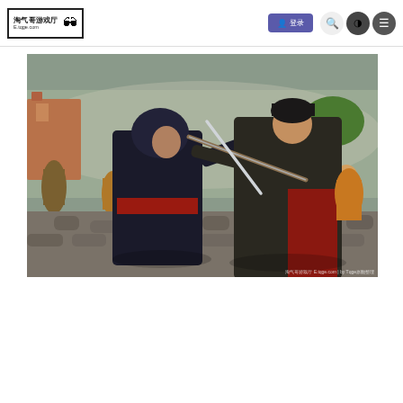淘气哥游戏厅 E.tqge.com — 登录 navigation bar with search, theme toggle, and menu buttons
[Figure (photo): Assassin's Creed action game screenshot showing two characters fighting with swords on a cobblestone street, one in dark hooded assassin robes, the other in dark coat with red accents. Background shows other combatants and a historic European town setting. Watermark text at bottom right in Chinese.]